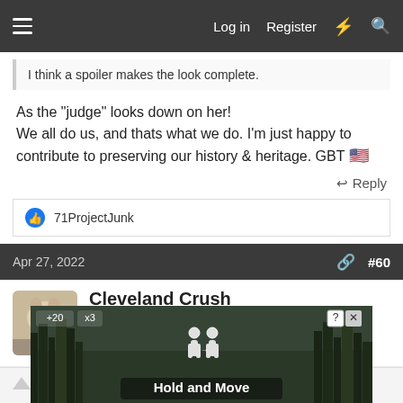Log in  Register
I think a spoiler makes the look complete.
As the "judge" looks down on her!
We all do us, and thats what we do. I'm just happy to contribute to preserving our history & heritage. GBT 🇺🇸
↩ Reply
👍 71ProjectJunk
Apr 27, 2022  #60
Cleveland Crush
Well-known member  7173 Mustang Supporter Member
[Figure (screenshot): Advertisement banner at bottom reading 'Hold and Move' with game-style UI showing score +20 x3 and two human figures icon, overlaid on tree/forest background image]